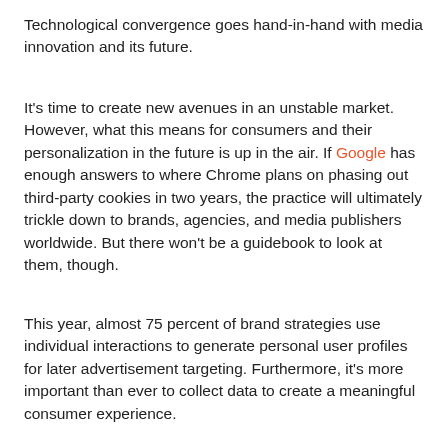Technological convergence goes hand-in-hand with media innovation and its future.
It's time to create new avenues in an unstable market. However, what this means for consumers and their personalization in the future is up in the air. If Google has enough answers to where Chrome plans on phasing out third-party cookies in two years, the practice will ultimately trickle down to brands, agencies, and media publishers worldwide. But there won't be a guidebook to look at them, though.
This year, almost 75 percent of brand strategies use individual interactions to generate personal user profiles for later advertisement targeting. Furthermore, it's more important than ever to collect data to create a meaningful consumer experience.